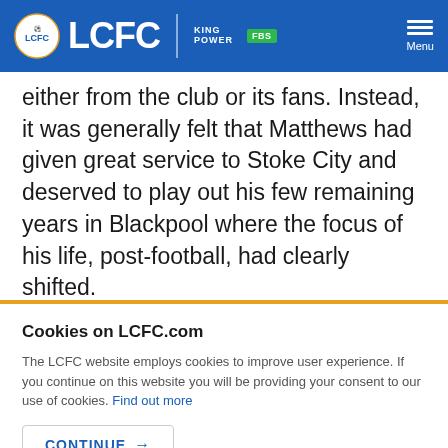LCFC | King Power | FBS | Menu
either from the club or its fans. Instead, it was generally felt that Matthews had given great service to Stoke City and deserved to play out his few remaining years in Blackpool where the focus of his life, post-football, had clearly shifted.
Cookies on LCFC.com
The LCFC website employs cookies to improve user experience. If you continue on this website you will be providing your consent to our use of cookies. Find out more
CONTINUE →